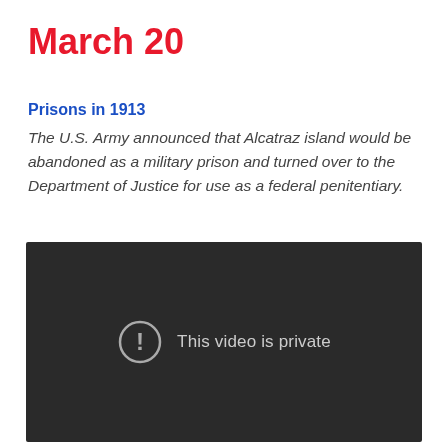March 20
Prisons in 1913
The U.S. Army announced that Alcatraz island would be abandoned as a military prison and turned over to the Department of Justice for use as a federal penitentiary.
[Figure (screenshot): Dark video player placeholder showing a circle with exclamation mark icon and the text 'This video is private']